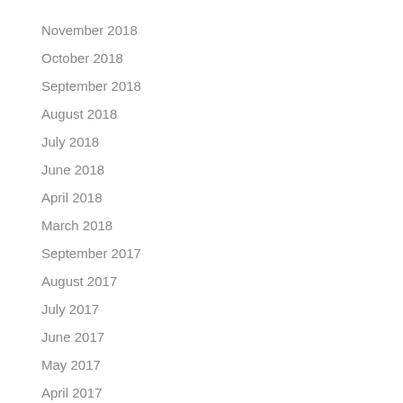November 2018
October 2018
September 2018
August 2018
July 2018
June 2018
April 2018
March 2018
September 2017
August 2017
July 2017
June 2017
May 2017
April 2017
March 2017